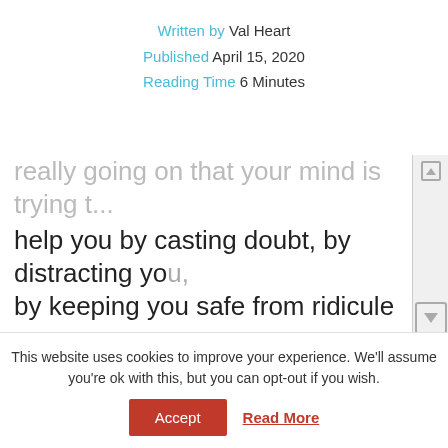Written by Val Heart
Published April 15, 2020
Reading Time 6 Minutes
really going on that your mind is trying to help you by casting doubt, by distracting you, by keeping you safe from ridicule or embarrassment..., it just hasn't adjusted to your new reality and what you are learning how to do yet.

The trick is: Don't fight your mind
This website uses cookies to improve your experience. We'll assume you're ok with this, but you can opt-out if you wish.
Accept  Read More